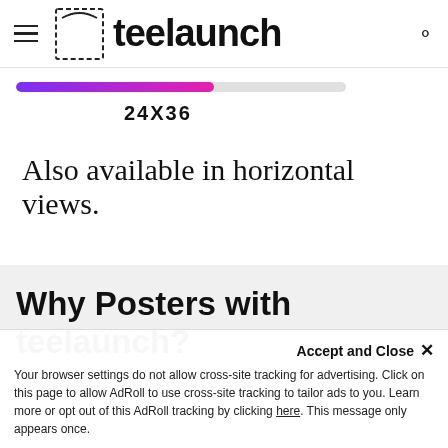teelaunch
[Figure (other): A horizontal slider bar with a purple-to-pink gradient fill, with a label '24X36' below it]
Also available in horizontal views.
Why Posters with teelaunch?
• Available in 3 sizes: 24x36, 18x24, 11x...
Accept and Close ✕
Your browser settings do not allow cross-site tracking for advertising. Click on this page to allow AdRoll to use cross-site tracking to tailor ads to you. Learn more or opt out of this AdRoll tracking by clicking here. This message only appears once.